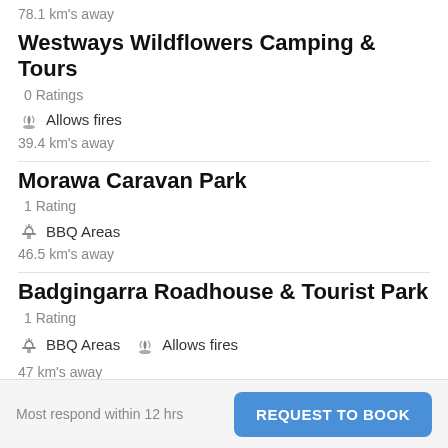78.1 km's away
Westways Wildflowers Camping & Tours
0 Ratings
🔥 Allows fires
39.4 km's away
Morawa Caravan Park
1 Rating
🍖 BBQ Areas
46.5 km's away
Badgingarra Roadhouse & Tourist Park
1 Rating
🍖 BBQ Areas  🔥 Allows fires
47 km's away
Most respond within 12 hrs
REQUEST TO BOOK